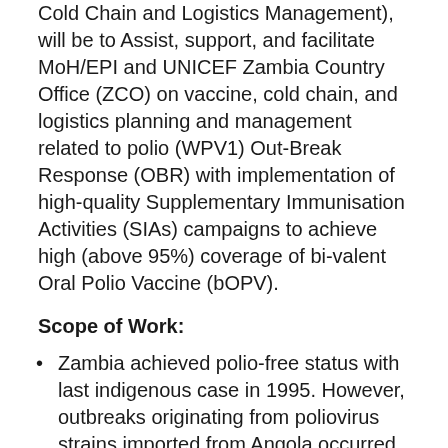Cold Chain and Logistics Management), will be to Assist, support, and facilitate MoH/EPI and UNICEF Zambia Country Office (ZCO) on vaccine, cold chain, and logistics planning and management related to polio (WPV1) Out-Break Response (OBR) with implementation of high-quality Supplementary Immunisation Activities (SIAs) campaigns to achieve high (above 95%) coverage of bi-valent Oral Polio Vaccine (bOPV).
Scope of Work:
Zambia achieved polio-free status with last indigenous case in 1995. However, outbreaks originating from poliovirus strains imported from Angola occurred